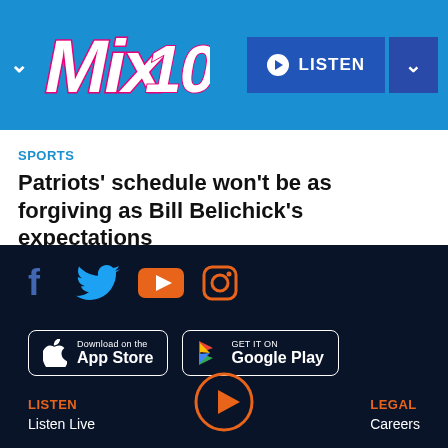[Figure (logo): Mix 104.1 radio station logo in white italic text with pink shadow, on blue background header bar with LISTEN button]
SPORTS
Patriots' schedule won't be as forgiving as Bill Belichick's expectations
[Figure (infographic): Dark navy footer with social media icons (Facebook, Twitter, YouTube, Instagram), App Store and Google Play download buttons, footer navigation links for LISTEN and LEGAL sections, and a circular play button at the bottom]
LISTEN
Listen Live
LEGAL
Careers